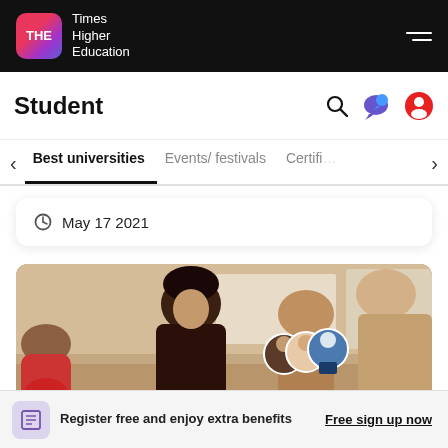THE Times Higher Education
Student
Best universities | Events/ festivals | Certifi…
May 17 2021
[Figure (photo): Students studying in a university library or computer lab; a chat-now overlay with three advisor avatars is visible in the corner]
Register free and enjoy extra benefits
Free sign up now